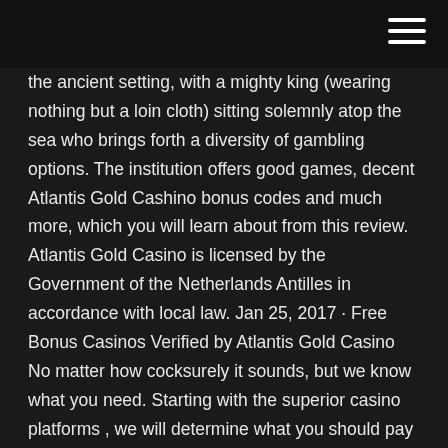the ancient setting, with a mighty king (wearing nothing but a loin cloth) sitting solemnly atop the sea who brings forth a diversity of gambling options. The institution offers good games, decent Atlantis Gold Cashino bonus codes and much more, which you will learn about from this review. Atlantis Gold Casino is licensed by the Government of the Netherlands Antilles in accordance with local law. Jan 25, 2017 · Free Bonus Casinos Verified by Atlantis Gold Casino No matter how cocksurely it sounds, but we know what you need. Starting with the superior casino platforms , we will determine what you should pay your attention to when looking for a trustworthy and reliable gaming site. Atlantis Gold Casino bonus & promo codes (2021) Free spins, no deposit and welcome bonus Claim Atlantis Gold Casino